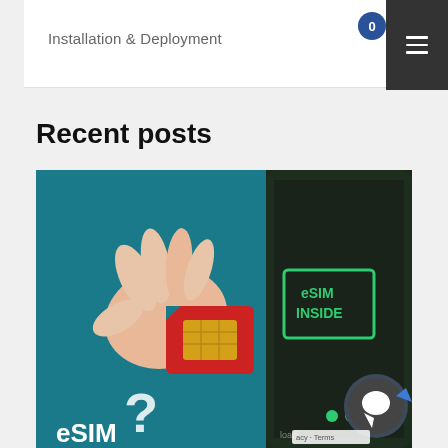Installation & Deployment
Recent posts
[Figure (illustration): Illustration showing a hand holding a red SIM card next to a smartphone displaying 'eSIM INSIDER' text with a question mark and 'eSIM' text, teal/dark blue background. Partial view of a chat support widget at bottom right.]